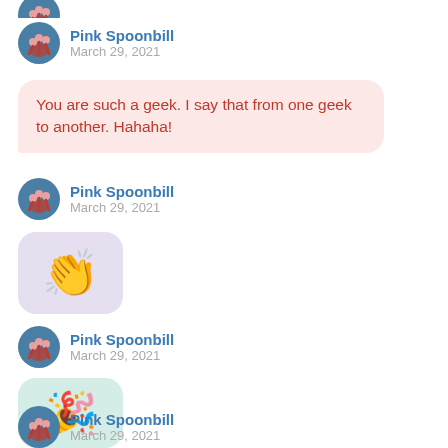[Figure (other): Avatar of Pink Spoonbill user (flamingo icon, teal circle), partially cropped at top]
Pink Spoonbill
March 29, 2021
You are such a geek. I say that from one geek to another. Hahaha!
Pink Spoonbill
March 29, 2021
[Figure (other): Clapping hands emoji in a rounded purple/lavender square bubble]
Pink Spoonbill
March 29, 2021
[Figure (other): Party popper emoji in a rounded mint/teal square bubble]
Pink Spoonbill
March 29, 2021